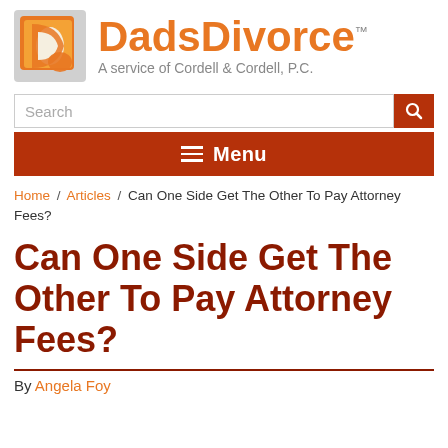[Figure (logo): DadsDivorce logo with orange D icon and text 'DadsDivorce TM — A service of Cordell & Cordell, P.C.']
Search
≡ Menu
Home / Articles / Can One Side Get The Other To Pay Attorney Fees?
Can One Side Get The Other To Pay Attorney Fees?
By Angela Foy